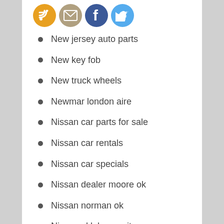[Figure (illustration): Four social media icon circles: RSS (orange), Email (gray/tan), Facebook (blue), Twitter (light blue)]
New jersey auto parts
New key fob
New truck wheels
Newmar london aire
Nissan car parts for sale
Nissan car rentals
Nissan car specials
Nissan dealer moore ok
Nissan norman ok
Nissan oklahoma city
Nissan rapid city